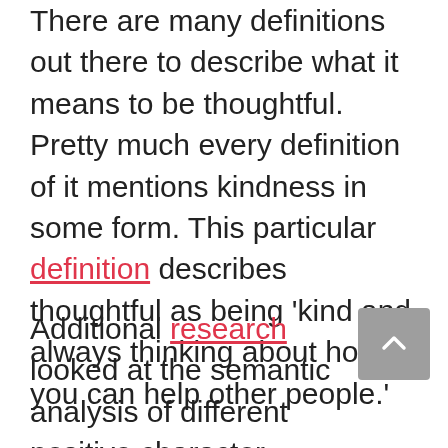There are many definitions out there to describe what it means to be thoughtful. Pretty much every definition of it mentions kindness in some form. This particular definition describes thoughtful as being 'kind and always thinking about how you can help other people.'
Additional research looked at the semantic analysis of different positive character traits. This research describes the meaning of thoughtfulness as '…some kind of